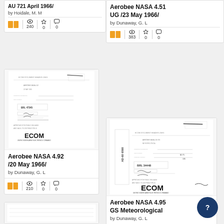AU 721 April 1966/ by Hoidale, M. M
240 views, 0 favorites, 0 comments
Aerobee NASA 4.51 UG /23 May 1966/ by Dunaway, G. L
383 views, 0 favorites, 0 comments
[Figure (screenshot): Thumbnail of ECOM document cover page for Aerobee NASA 4.92 /20 May 1966/]
Aerobee NASA 4.92 /20 May 1966/ by Dunaway, G. L
210 views, 0 favorites, 0 comments
[Figure (screenshot): Thumbnail of ECOM document cover page for Aerobee NASA 4.95 GS Meteorological]
Aerobee NASA 4.95 GS Meteorological by Dunaway, G. L
369 views, 0 favorites, 0 comments
[Figure (screenshot): Partial thumbnail of another document at bottom left]